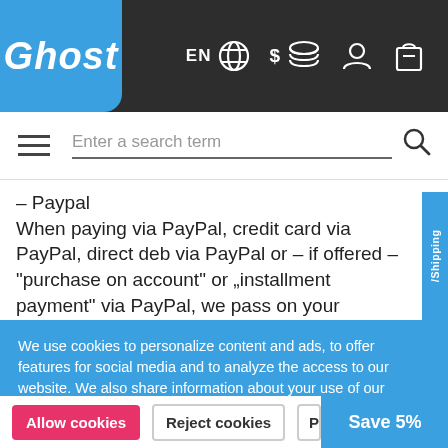[Figure (logo): Ghost logo - white italic text on blue rounded box]
[Figure (screenshot): Navigation icons: EN globe, dollar coin stack, person icon, shopping bag icon]
[Figure (screenshot): Search bar with hamburger menu, 'Enter a search term' placeholder, and magnifying glass icon]
– Paypal
When paying via PayPal, credit card via PayPal, direct deb via PayPal or – if offered – "purchase on account" or „installment payment" via PayPal, we pass on your
We use cookies to personalize content and ads, to offer features for social media and to analyze the access to our website. We also share information about your use of our website with our social media, weaving and analytics partners. Our partners may combine this information with other information that you have provided to them or that they have collected as part of your use of the Services. You accept our cookies when you click "Allow cookies" and continue to use this website.
Allow cookies
Reject cookies
Priv
Save 5%